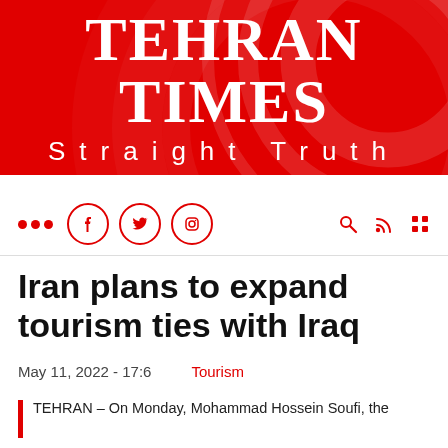[Figure (logo): Tehran Times newspaper header banner with red background, large white serif text 'TEHRAN TIMES' and white sans-serif text 'Straight Truth' below]
Tehran Times — Straight Truth
••• [Facebook] [Twitter] [Instagram] icons on left; search, RSS, grid icons on right
Iran plans to expand tourism ties with Iraq
May 11, 2022 - 17:6    Tourism
TEHRAN – On Monday, Mohammad Hossein Soufi, the